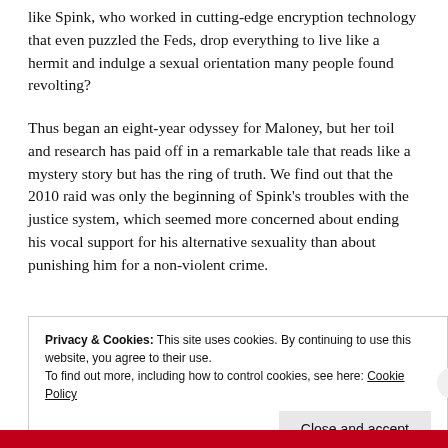like Spink, who worked in cutting-edge encryption technology that even puzzled the Feds, drop everything to live like a hermit and indulge a sexual orientation many people found revolting?
Thus began an eight-year odyssey for Maloney, but her toil and research has paid off in a remarkable tale that reads like a mystery story but has the ring of truth. We find out that the 2010 raid was only the beginning of Spink's troubles with the justice system, which seemed more concerned about ending his vocal support for his alternative sexuality than about punishing him for a non-violent crime.
Privacy & Cookies: This site uses cookies. By continuing to use this website, you agree to their use.
To find out more, including how to control cookies, see here: Cookie Policy